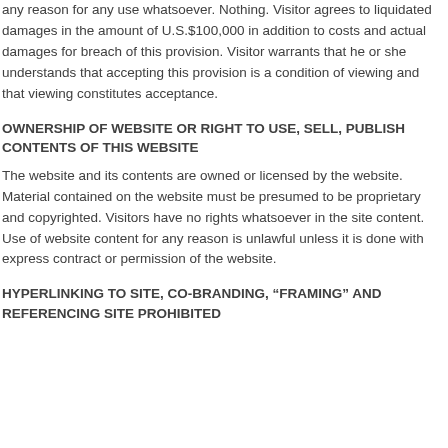any reason for any use whatsoever. Nothing. Visitor agrees to liquidated damages in the amount of U.S.$100,000 in addition to costs and actual damages for breach of this provision. Visitor warrants that he or she understands that accepting this provision is a condition of viewing and that viewing constitutes acceptance.
OWNERSHIP OF WEBSITE OR RIGHT TO USE, SELL, PUBLISH CONTENTS OF THIS WEBSITE
The website and its contents are owned or licensed by the website. Material contained on the website must be presumed to be proprietary and copyrighted. Visitors have no rights whatsoever in the site content. Use of website content for any reason is unlawful unless it is done with express contract or permission of the website.
HYPERLINKING TO SITE, CO-BRANDING, “FRAMING” AND REFERENCING SITE PROHIBITED